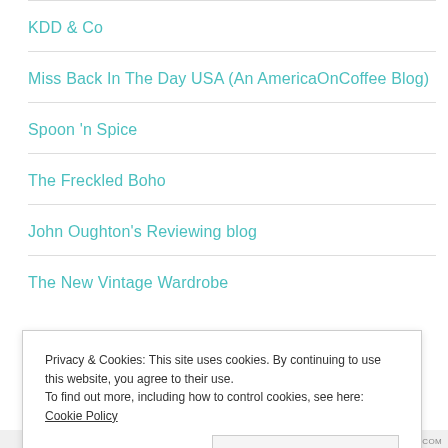KDD & Co
Miss Back In The Day USA (An AmericaOnCoffee Blog)
Spoon 'n Spice
The Freckled Boho
John Oughton's Reviewing blog
The New Vintage Wardrobe
Privacy & Cookies: This site uses cookies. By continuing to use this website, you agree to their use. To find out more, including how to control cookies, see here: Cookie Policy
Close and accept